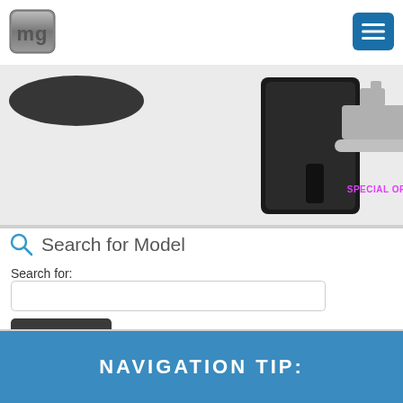[Figure (logo): MG logo in grey metallic style, square with rounded corners showing 'mg' letters]
[Figure (screenshot): Navigation menu button — dark teal square button with three horizontal white lines (hamburger menu icon)]
[Figure (photo): Product images: partial black oval item on left, black leather wallet/case in center, grey ship icon with 'SPECIAL ORDER' in magenta text on right]
Search for Model
Search for:
[Figure (screenshot): Empty search text input field with rounded border]
[Figure (screenshot): Dark grey Search button]
NAVIGATION TIP: